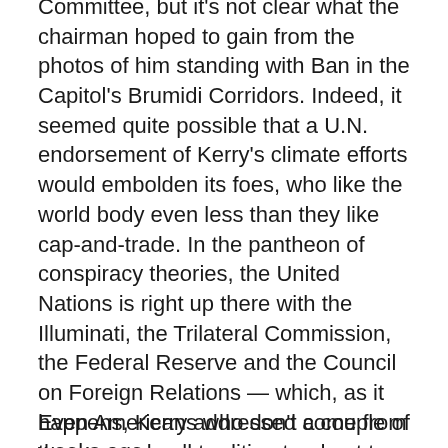Committee, but it's not clear what the chairman hoped to gain from the photos of him standing with Ban in the Capitol's Brumidi Corridors. Indeed, it seemed quite possible that a U.N. endorsement of Kerry's climate efforts would embolden its foes, who like the world body even less than they like cap-and-trade. In the pantheon of conspiracy theories, the United Nations is right up there with the Illuminati, the Trilateral Commission, the Federal Reserve and the Council on Foreign Relations — which, as it happens, Kerry addressed a couple of weeks ago.
Even Americans who don't come from the grassy-knoll tradition tend not to regard the United Nations with great confidence. A Gallup poll earlier this year found that 65 percent of respondents thought it was doing a bad job, compared with 26 percent who think it is doing a good job. Ban himself is not terribly nefarious, if only because he is